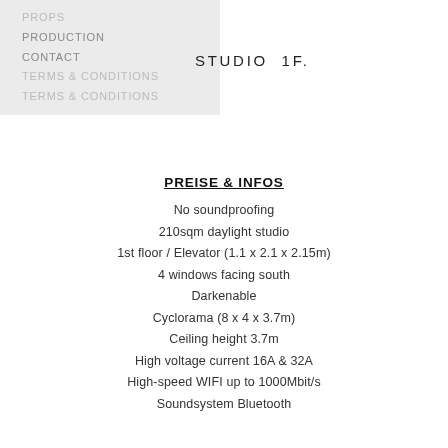PROPS
PRODUCTION
CONTACT
TERMS & CONDITIONS
TERMS & CONDITIONS
STUDIO 1F.
PREISE & INFOS
No soundproofing
210sqm daylight studio
1st floor / Elevator (1.1 x 2.1 x 2.15m)
4 windows facing south
Darkenable
Cyclorama (8 x 4 x 3.7m)
Ceiling height 3.7m
High voltage current 16A & 32A
High-speed WIFI up to 1000Mbit/s
Soundsystem Bluetooth